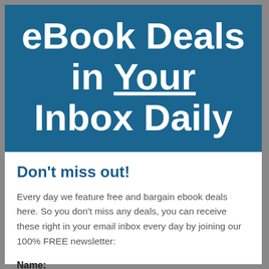eBook Deals in Your Inbox Daily
Don't miss out!
Every day we feature free and bargain ebook deals here. So you don't miss any deals, you can receive these right in your email inbox every day by joining our 100% FREE newsletter:
Name: